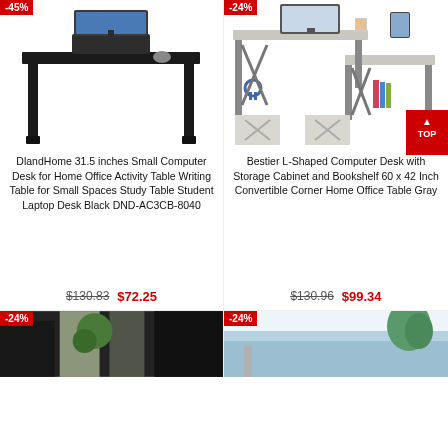[Figure (photo): Black simple computer desk with laptop on top, -45% discount badge]
[Figure (photo): Gray L-shaped computer desk with storage cabinet and bookshelf, -24% discount badge, two thumbnail views below]
DlandHome 31.5 inches Small Computer Desk for Home Office Activity Table Writing Table for Small Spaces Study Table Student Laptop Desk Black DND-AC3CB-8040
$130.83  $72.25
Bestier L-Shaped Computer Desk with Storage Cabinet and Bookshelf 60 x 42 Inch Convertible Corner Home Office Table Gray
$130.96  $99.34
[Figure (photo): Partial product image at bottom left with -24% badge]
[Figure (photo): Partial product image at bottom right with -24% badge]